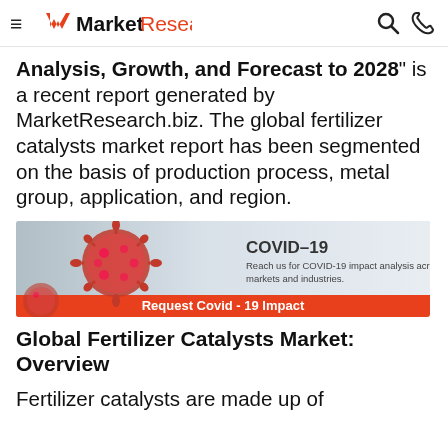MarketResearch.biz
Analysis, Growth, and Forecast to 2028" is a recent report generated by MarketResearch.biz. The global fertilizer catalysts market report has been segmented on the basis of production process, metal group, application, and region.
[Figure (infographic): COVID-19 banner with red coronavirus illustration on left, text reading 'COVID-19 Reach us for COVID-19 impact analysis across markets and industries.' and orange bar at bottom reading 'Request Covid - 19 Impact']
Global Fertilizer Catalysts Market: Overview
Fertilizer catalysts are made up of